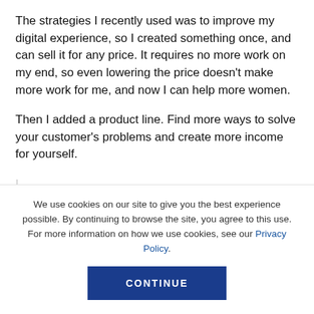The strategies I recently used was to improve my digital experience, so I created something once, and can sell it for any price. It requires no more work on my end, so even lowering the price doesn't make more work for me, and now I can help more women.
Then I added a product line. Find more ways to solve your customer's problems and create more income for yourself.
We use cookies on our site to give you the best experience possible. By continuing to browse the site, you agree to this use. For more information on how we use cookies, see our Privacy Policy.